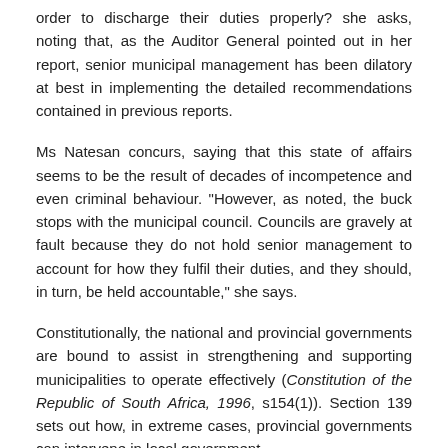order to discharge their duties properly? she asks, noting that, as the Auditor General pointed out in her report, senior municipal management has been dilatory at best in implementing the detailed recommendations contained in previous reports.
Ms Natesan concurs, saying that this state of affairs seems to be the result of decades of incompetence and even criminal behaviour. "However, as noted, the buck stops with the municipal council. Councils are gravely at fault because they do not hold senior management to account for how they fulfil their duties, and they should, in turn, be held accountable," she says.
Constitutionally, the national and provincial governments are bound to assist in strengthening and supporting municipalities to operate effectively (Constitution of the Republic of South Africa, 1996, s154(1)). Section 139 sets out how, in extreme cases, provincial governments can intervene in local government.